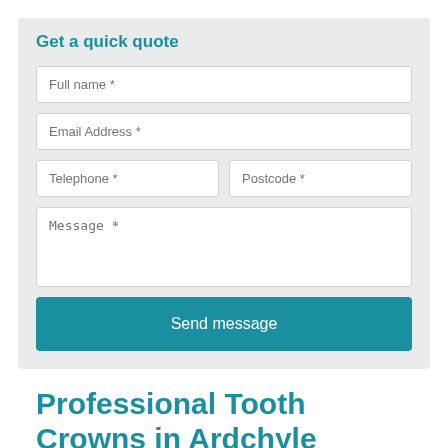Get a quick quote
Full name *
Email Address *
Telephone *
Postcode *
Message *
Send message
Professional Tooth Crowns in Ardchyle
Our team of experts can fit professional tooth crowns in Ardchyle